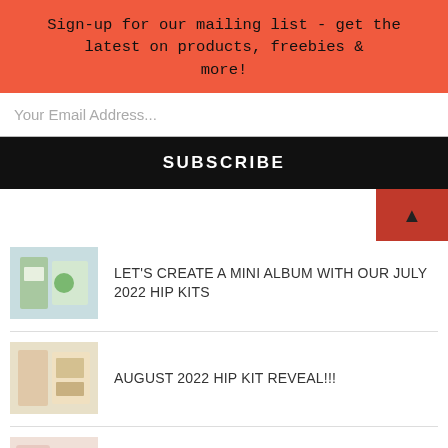Sign-up for our mailing list - get the latest on products, freebies & more!
Your Email Address...
SUBSCRIBE
LET'S CREATE A MINI ALBUM WITH OUR JULY 2022 HIP KITS
AUGUST 2022 HIP KIT REVEAL!!!
DIY PAPERCLIP EMBELLISHMENTS by Ashley Bright
LET'S TRY SOMETHING NEW | SOPHIE